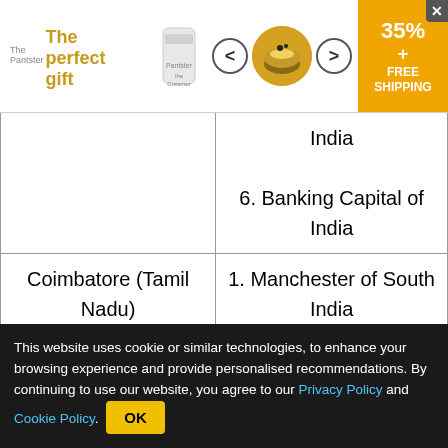[Figure (other): Advertisement banner for 'The perfect gift' featuring a food canister product with navigation arrows, a bowl image, and a 35%+ FREE SHIPPING badge with close button]
| City | Nicknames |
| --- | --- |
|  | India

6. Banking Capital of India |
| Coimbatore (Tamil Nadu) | 1. Manchester of South India

2. Textile City of India

3. Engineering City of India

4. Financial Capital of Tamil Nadu |
This website uses cookie or similar technologies, to enhance your browsing experience and provide personalised recommendations. By continuing to use our website, you agree to our Privacy Policy and Cookie Policy.